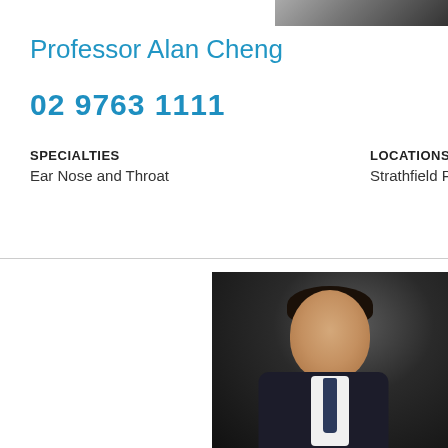[Figure (photo): Top partial photo of a person in graduation attire, partially visible at top of page]
Professor Alan Cheng
02 9763 1111
SPECIALTIES
Ear Nose and Throat
LOCATIONS
Strathfield Private
[Figure (photo): Professional headshot of a young Asian male doctor smiling, wearing a dark suit with navy tie and white dress shirt, photographed against a dark background]